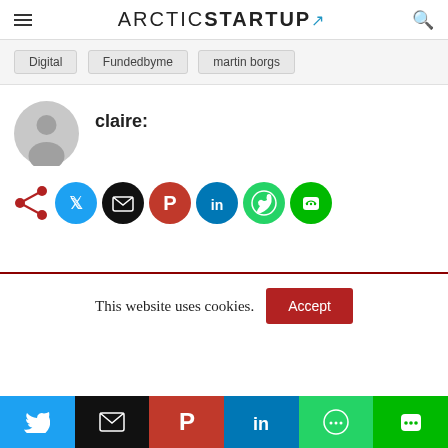ARCTICSTARTUP
Digital
Fundedbyme
martin borgs
claire:
[Figure (infographic): Social share icons: share, Twitter, email, Pinterest, LinkedIn, WhatsApp, LINE]
This website uses cookies. Accept
[Figure (infographic): Bottom social sharing bar: Twitter, email, Pinterest, LinkedIn, WhatsApp, LINE]